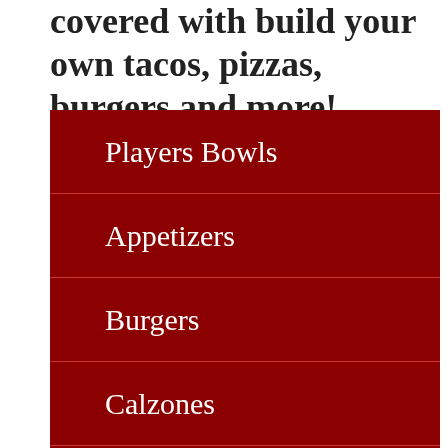covered with build your own tacos, pizzas, burgers and more!
Players Bowls
Appetizers
Burgers
Calzones
Entrées